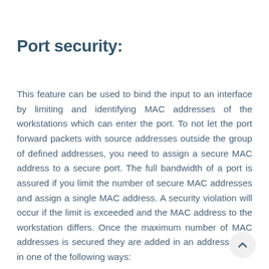Port security:
This feature can be used to bind the input to an interface by limiting and identifying MAC addresses of the workstations which can enter the port. To not let the port forward packets with source addresses outside the group of defined addresses, you need to assign a secure MAC address to a secure port. The full bandwidth of a port is assured if you limit the number of secure MAC addresses and assign a single MAC address. A security violation will occur if the limit is exceeded and the MAC address to the workstation differs. Once the maximum number of MAC addresses is secured they are added in an address table in one of the following ways: